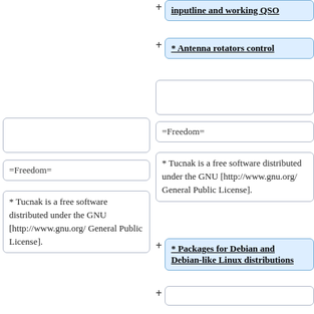inputline and working QSO
* Antenna rotators control
=Freedom=
=Freedom=
* Tucnak is a free software distributed under the GNU [http://www.gnu.org/ General Public License].
* Tucnak is a free software distributed under the GNU [http://www.gnu.org/ General Public License].
* Packages for Debian and Debian-like Linux distributions
=Attractions=
* Tucnak is probably the one